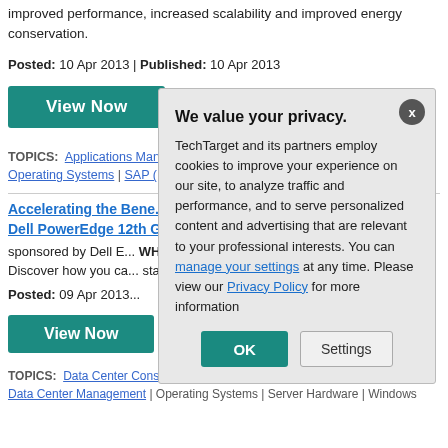improved performance, increased scalability and improved energy conservation.
Posted: 10 Apr 2013 | Published: 10 Apr 2013
[Figure (screenshot): Teal 'View Now' button]
TOPICS: Applications Management | Infrastructure Management | Linux | Operating Systems | SAP (Product...
Accelerating the Bene... Dell PowerEdge 12th G...
sponsored by Dell E... WHITE PAPER: Thi... server solution can a... Discover how you ca... stand-alone, virtualiz...
Posted: 09 Apr 2013...
[Figure (screenshot): Teal 'View Now' button]
TOPICS: Data Center Consolidation | Data Center Infrastructure Efficiency | Data Center Management | Operating Systems | Server Hardware | Windows
[Figure (screenshot): Privacy consent modal dialog with 'We value your privacy.' heading, body text about TechTarget cookies, links to manage your settings and Privacy Policy, and OK and Settings buttons.]